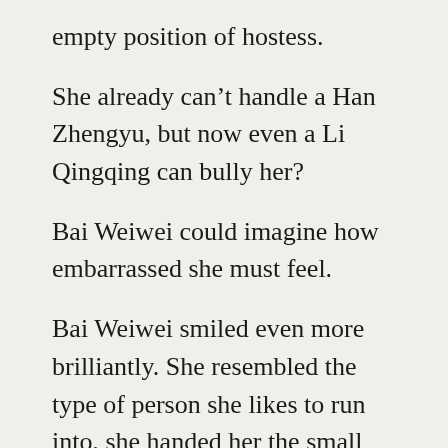empty position of hostess.
She already can't handle a Han Zhengyu, but now even a Li Qingqing can bully her?
Bai Weiwei could imagine how embarrassed she must feel.
Bai Weiwei smiled even more brilliantly. She resembled the type of person she likes to run into, she handed her the small watermelon slice in her hand to Li Qingqing, “Auntie, for you to eat.”
Li Qingqing was disgusted, she looked at her impatiently then swatted the watermelon out of her hand, “You actually want me to eat what you